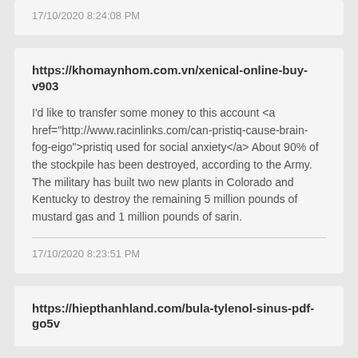17/10/2020 8:24:08 PM
https://khomaynhom.com.vn/xenical-online-buy-v903
I'd like to transfer some money to this account <a href="http://www.racinlinks.com/can-pristiq-cause-brain-fog-eigo">pristiq used for social anxiety</a> About 90% of the stockpile has been destroyed, according to the Army. The military has built two new plants in Colorado and Kentucky to destroy the remaining 5 million pounds of mustard gas and 1 million pounds of sarin.
17/10/2020 8:23:51 PM
https://hiepthanhland.com/bula-tylenol-sinus-pdf-go5v